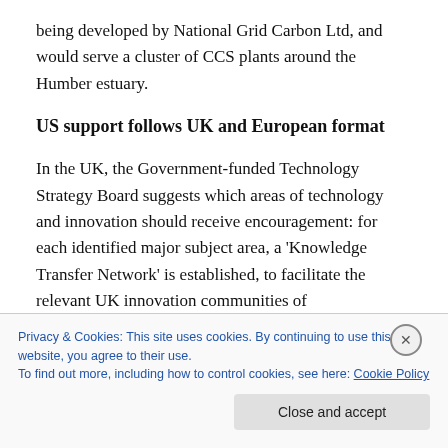being developed by National Grid Carbon Ltd, and would serve a cluster of CCS plants around the Humber estuary.
US support follows UK and European format
In the UK, the Government-funded Technology Strategy Board suggests which areas of technology and innovation should receive encouragement: for each identified major subject area, a ‘Knowledge Transfer Network’ is established, to facilitate the relevant UK innovation communities of manufacturers, users and researchers to
Privacy & Cookies: This site uses cookies. By continuing to use this website, you agree to their use.
To find out more, including how to control cookies, see here: Cookie Policy